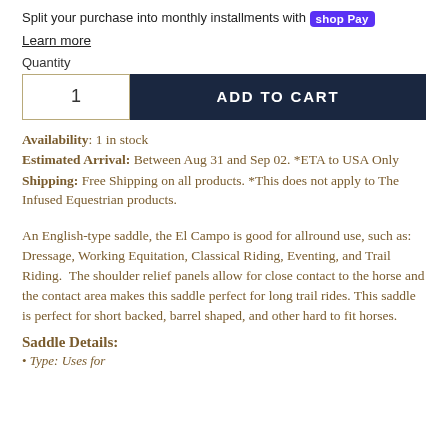Split your purchase into monthly installments with shop Pay
Learn more
Quantity
1  ADD TO CART
Availability: 1 in stock
Estimated Arrival: Between Aug 31 and Sep 02. *ETA to USA Only
Shipping: Free Shipping on all products. *This does not apply to The Infused Equestrian products.
An English-type saddle, the El Campo is good for allround use, such as: Dressage, Working Equitation, Classical Riding, Eventing, and Trail Riding. The shoulder relief panels allow for close contact to the horse and the contact area makes this saddle perfect for long trail rides. This saddle is perfect for short backed, barrel shaped, and other hard to fit horses.
Saddle Details:
Type: Uses for